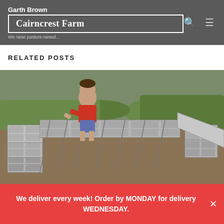Garth Brown | Cairncrest Farm
RELATED POSTS
[Figure (photo): A child in a red shirt and plaid shorts leans over cinder block walls being constructed on a hillside, with metal rebar visible across the blocks. Green grass and gravel are in the background.]
We deliver every week! Order by MONDAY for delivery WEDNESDAY.